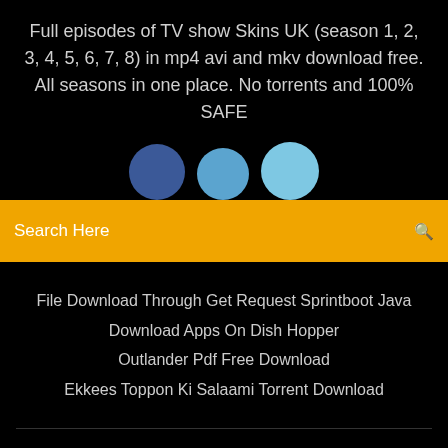Full episodes of TV show Skins UK (season 1, 2, 3, 4, 5, 6, 7, 8) in mp4 avi and mkv download free. All seasons in one place. No torrents and 100% SAFE
[Figure (illustration): Three overlapping social media circles/buttons in blue shades]
Search Here
File Download Through Get Request Sprintboot Java
Download Apps On Dish Hopper
Outlander Pdf Free Download
Ekkees Toppon Ki Salaami Torrent Download
Copyright ©2022 All rights reserved | This template is made with ♡ by Colorlib